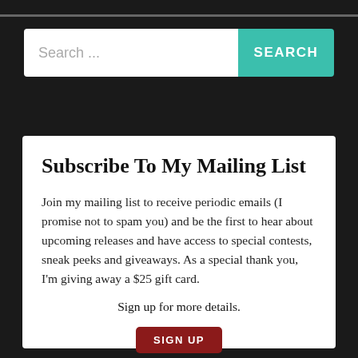[Figure (screenshot): Search bar with text input placeholder 'Search ...' and a teal 'SEARCH' button]
Subscribe To My Mailing List
Join my mailing list to receive periodic emails (I promise not to spam you) and be the first to hear about upcoming releases and have access to special contests, sneak peeks and giveaways. As a special thank you, I'm giving away a $25 gift card.
Sign up for more details.
SIGN UP